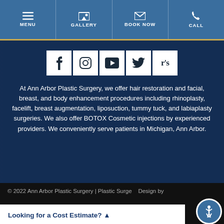MENU | GALLERY | BOOK NOW | CALL
[Figure (infographic): Social media icons row: Facebook, Instagram, YouTube, Twitter, RealSelf]
At Ann Arbor Plastic Surgery, we offer hair restoration and facial, breast, and body enhancement procedures including rhinoplasty, facelift, breast augmentation, liposuction, tummy tuck, and labiaplasty surgeries. We also offer BOTOX Cosmetic injections by experienced providers. We conveniently serve patients in Michigan, Ann Arbor.
© 2022 Ann Arbor Plastic Surgery | Plastic Surgery Design by
Looking for a Cost Estimate? ▲